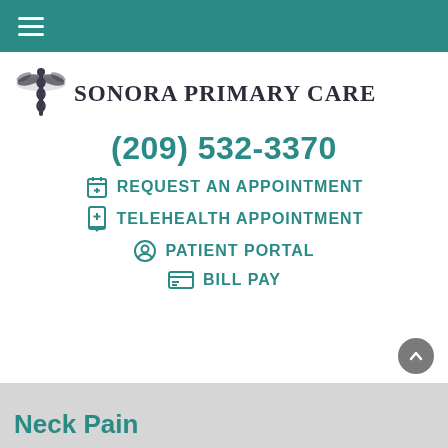≡
[Figure (logo): Caduceus medical symbol with wings — Sonora Primary Care logo]
SONORA PRIMARY CARE
(209) 532-3370
REQUEST AN APPOINTMENT
TELEHEALTH APPOINTMENT
PATIENT PORTAL
BILL PAY
Neck Pain